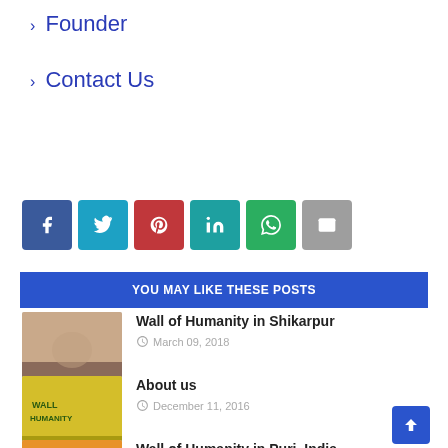› Founder
› Contact Us
[Figure (infographic): Row of social share buttons: Facebook (blue), Twitter (cyan), Pinterest (red), LinkedIn (teal), WhatsApp (green), Email (gray)]
YOU MAY LIKE THESE POSTS
[Figure (photo): Thumbnail image for Wall of Humanity in Shikarpur post]
Wall of Humanity in Shikarpur
March 09, 2018
[Figure (photo): Thumbnail image for About us post showing Wall of Humanity graffiti in yellow]
About us
December 11, 2016
[Figure (photo): Thumbnail image for Wall of Humanity in Puri India post showing orange banner]
Wall of Humanity in Puri, India
December 09, 2016